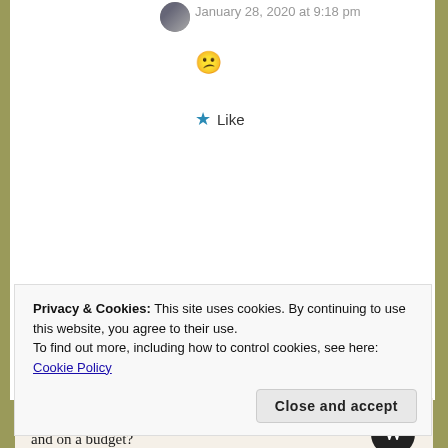January 28, 2020 at 9:18 pm
😕
★ Like
[Figure (infographic): WordPress advertisement banner reading 'Need a website quickly – and on a budget?' with WordPress logo on the right and 'REPORT THIS AD' text in small print at bottom right.]
Privacy & Cookies: This site uses cookies. By continuing to use this website, you agree to their use.
To find out more, including how to control cookies, see here: Cookie Policy

Close and accept